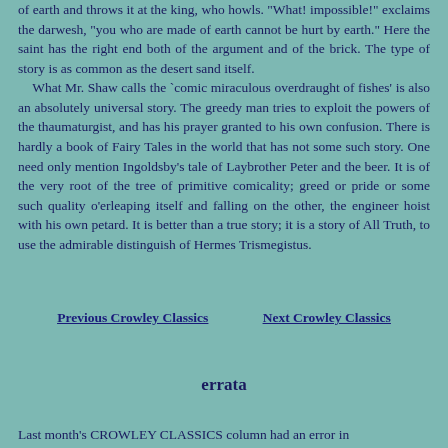of earth and throws it at the king, who howls. "What! impossible!" exclaims the darwesh, "you who are made of earth cannot be hurt by earth." Here the saint has the right end both of the argument and of the brick. The type of story is as common as the desert sand itself.
    What Mr. Shaw calls the `comic miraculous overdraught of fishes' is also an absolutely universal story. The greedy man tries to exploit the powers of the thaumaturgist, and has his prayer granted to his own confusion. There is hardly a book of Fairy Tales in the world that has not some such story. One need only mention Ingoldsby's tale of Laybrother Peter and the beer. It is of the very root of the tree of primitive comicality; greed or pride or some such quality o'erleaping itself and falling on the other, the engineer hoist with his own petard. It is better than a true story; it is a story of All Truth, to use the admirable distinguish of Hermes Trismegistus.
Previous Crowley Classics
Next Crowley Classics
errata
Last month's CROWLEY CLASSICS column had an error in